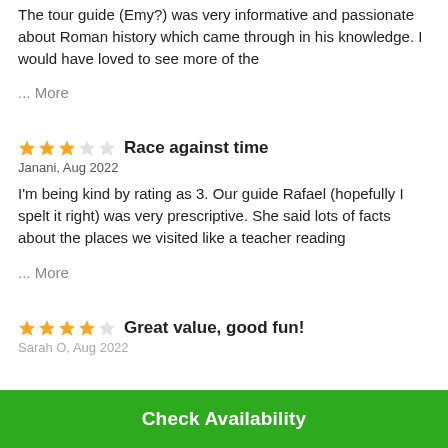The tour guide (Emy?) was very informative and passionate about Roman history which came through in his knowledge. I would have loved to see more of the ... More
Race against time
Janani, Aug 2022
I'm being kind by rating as 3. Our guide Rafael (hopefully I spelt it right) was very prescriptive. She said lots of facts about the places we visited like a teacher reading ... More
Great value, good fun!
Sarah O, Aug 2022